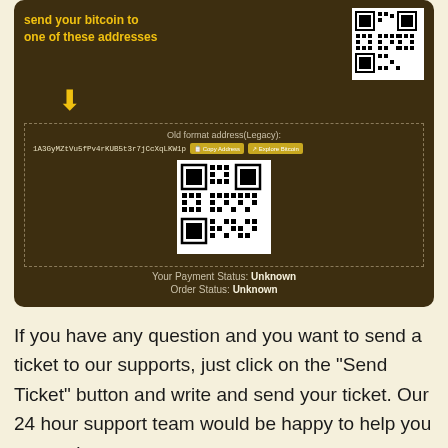[Figure (screenshot): Dark brown panel showing Bitcoin payment interface with QR codes, Bitcoin address 1A3GyMZtVu5fPv4rKUB5t3r7jCcXqLKW1p, Copy Address and Explore Bitcoin buttons, payment status Unknown and order status Unknown]
If you have any question and you want to send a ticket to our supports, just click on the "Send Ticket" button and write and send your ticket. Our 24 hour support team would be happy to help you at any time.
[Figure (illustration): Light colored panel with a green upward-pointing arrow/triangle at the bottom]